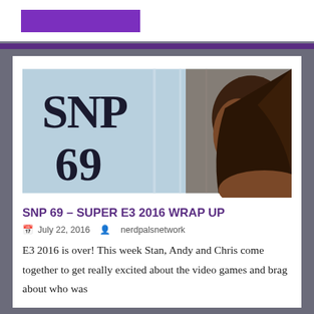[Figure (photo): Top bar with purple logo banner]
[Figure (photo): SNP 69 article thumbnail: man in profile with 'SNP 69' text overlay on a light blue paneled background]
SNP 69 – SUPER E3 2016 WRAP UP
July 22, 2016    nerdpalsnetwork
E3 2016 is over! This week Stan, Andy and Chris come together to get really excited about the video games and brag about who was